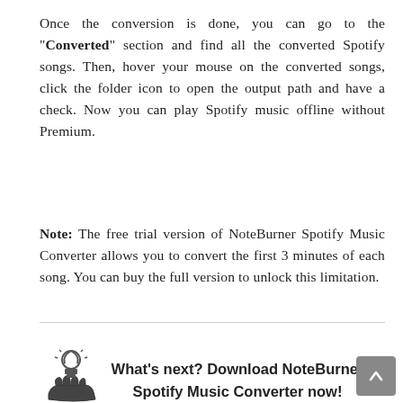Once the conversion is done, you can go to the "Converted" section and find all the converted Spotify songs. Then, hover your mouse on the converted songs, click the folder icon to open the output path and have a check. Now you can play Spotify music offline without Premium.
Note: The free trial version of NoteBurner Spotify Music Converter allows you to convert the first 3 minutes of each song. You can buy the full version to unlock this limitation.
[Figure (illustration): Light bulb with hand icon]
What's next? Download NoteBurner Spotify Music Converter now!